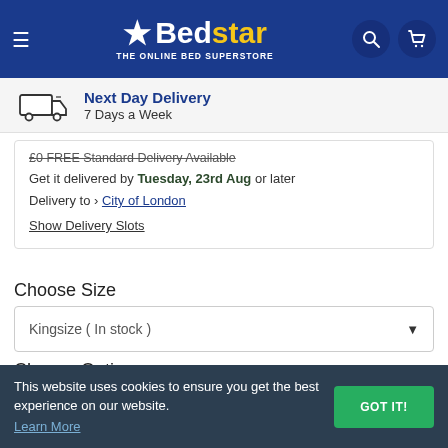[Figure (logo): Bedstar - The Online Bed Superstore logo on dark blue header with hamburger menu, search and cart icons]
Next Day Delivery
7 Days a Week
£0 FREE Standard Delivery Available
Get it delivered by Tuesday, 23rd Aug or later
Delivery to City of London
Show Delivery Slots
Choose Size
Kingsize ( In stock )
Choose Options
This website uses cookies to ensure you get the best experience on our website. Learn More